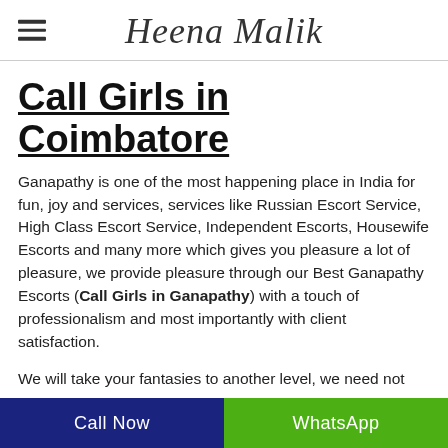Heena Malik
Call Girls in Coimbatore
Ganapathy is one of the most happening place in India for fun, joy and services, services like Russian Escort Service, High Class Escort Service, Independent Escorts, Housewife Escorts and many more which gives you pleasure a lot of pleasure, we provide pleasure through our Best Ganapathy Escorts (Call Girls in Ganapathy) with a touch of professionalism and most importantly with client satisfaction.
We will take your fantasies to another level, we need not
Call Now | WhatsApp